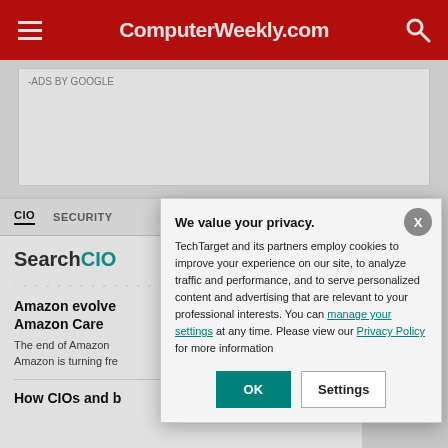ComputerWeekly.com
-ADS BY GOOGLE
CIO  SECURITY
SearchCIO
Amazon evolve Amazon Care
The end of Amazon Amazon is turning fre
How CIOs and b
We value your privacy. TechTarget and its partners employ cookies to improve your experience on our site, to analyze traffic and performance, and to serve personalized content and advertising that are relevant to your professional interests. You can manage your settings at any time. Please view our Privacy Policy for more information